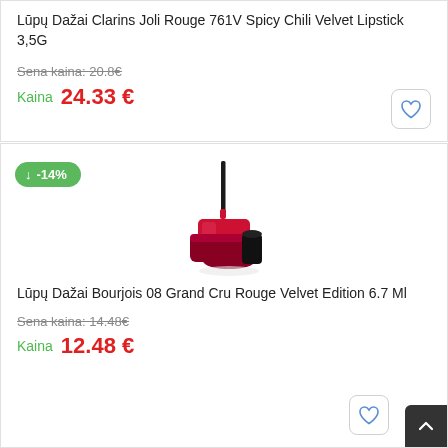Lūpų Dažai Clarins Joli Rouge 761V Spicy Chili Velvet Lipstick 3,5G
Sena kaina: 20.8€
Kaina  24.33 €
[Figure (photo): Product photo of Bourjois 08 Grand Cru Rouge Velvet Edition lipstick with discount badge -14%]
Lūpų Dažai Bourjois 08 Grand Cru Rouge Velvet Edition 6.7 Ml
Sena kaina: 14.48€
Kaina  12.48 €